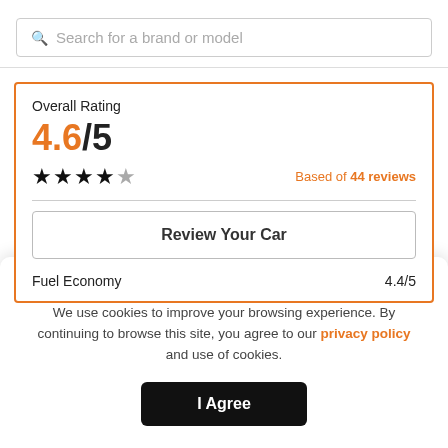Search for a brand or model
Overall Rating
4.6/5
★★★★✩  Based of 44 reviews
Review Your Car
Fuel Economy  4.4/5
Hey! Just letting you know we use cookies
We use cookies to improve your browsing experience. By continuing to browse this site, you agree to our privacy policy and use of cookies.
I Agree